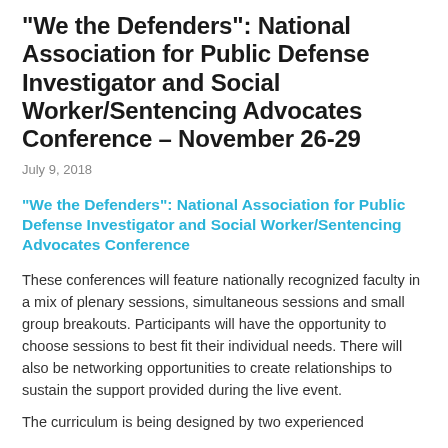“We the Defenders”: National Association for Public Defense Investigator and Social Worker/Sentencing Advocates Conference – November 26-29
July 9, 2018
“We the Defenders”: National Association for Public Defense Investigator and Social Worker/Sentencing Advocates Conference
These conferences will feature nationally recognized faculty in a mix of plenary sessions, simultaneous sessions and small group breakouts.  Participants will have the opportunity to choose sessions to best fit their individual needs.  There will also be networking opportunities to create relationships to sustain the support provided during the live event.
The curriculum is being designed by two experienced